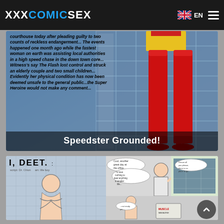XXXCOMICSEX — EN
[Figure (illustration): Comic page panel showing a superhero woman in red costume with red thigh-high boots against a glass building background. A newspaper-style text overlay describes a courthouse event. Title overlay reads 'Speedster Grounded!']
[Figure (illustration): Comic page panel titled 'I, DEET.' showing manga/comic style panels with male characters in shower and sitting scenes with speech bubbles.]